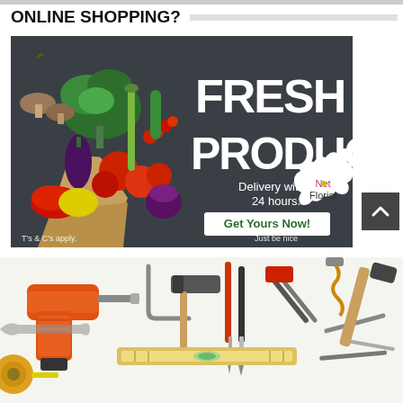ONLINE SHOPPING?
[Figure (illustration): Net Florist fresh produce advertisement: dark background with vegetables spilling from a bag, large white text 'FRESH PRODUCE', subtitle 'Delivery within 24 hours.', green button 'Get Yours Now!', scalloped circle logo 'Net Florist', footer text 'T's & C's apply.' and 'Just be nice']
[Figure (photo): Overhead photo of various tools on a white surface including drill, hammer, screwdrivers, wrenches, level, and other hardware tools]